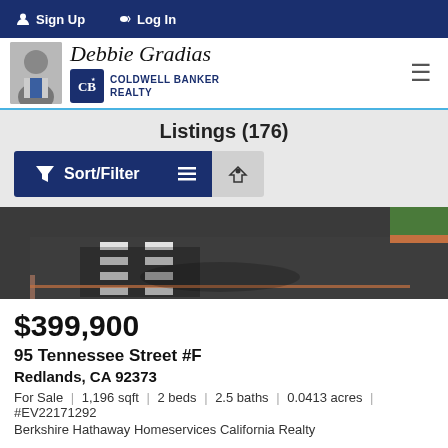Sign Up  Log In
[Figure (logo): Debbie Gradias Coldwell Banker Realty agent logo with agent photo]
Listings (176)
[Figure (screenshot): Sort/Filter button row with list view and map view toggle icons]
[Figure (photo): Street photo showing asphalt road with white crosswalk markings and curb with grass]
$399,900
95 Tennessee Street #F
Redlands, CA 92373
For Sale  |  1,196 sqft  |  2 beds  |  2.5 baths  |  0.0413 acres  |  #EV22171292
Berkshire Hathaway Homeservices California Realty